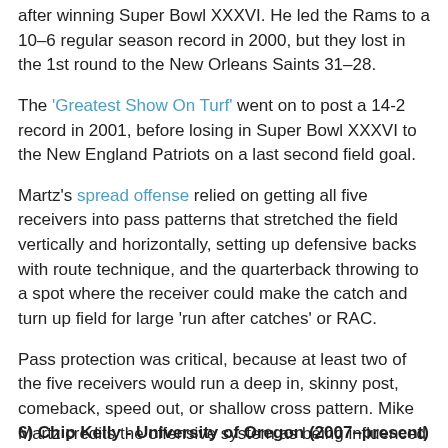after winning Super Bowl XXXVI. He led the Rams to a 10–6 regular season record in 2000, but they lost in the 1st round to the New Orleans Saints 31–28.
The 'Greatest Show On Turf' went on to post a 14-2 record in 2001, before losing in Super Bowl XXXVI to the New England Patriots on a last second field goal.
Martz's spread offense relied on getting all five receivers into pass patterns that stretched the field vertically and horizontally, setting up defensive backs with route technique, and the quarterback throwing to a spot where the receiver could make the catch and turn up field for large 'run after catches' or RAC.
Pass protection was critical, because at least two of the five receivers would run a deep in, skinny post, comeback, speed out, or shallow cross pattern. Mike Martz credits the offensive system as being influenced by Sid Gillman and refined by former NFL coach Don Coryell of the San Diego Chargers.
6) Chip Kelly - University of Oregon (2007–present)